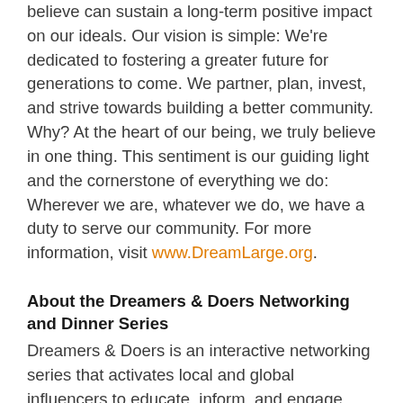believe can sustain a long-term positive impact on our ideals. Our vision is simple: We're dedicated to fostering a greater future for generations to come. We partner, plan, invest, and strive towards building a better community. Why? At the heart of our being, we truly believe in one thing. This sentiment is our guiding light and the cornerstone of everything we do: Wherever we are, whatever we do, we have a duty to serve our community. For more information, visit www.DreamLarge.org.
About the Dreamers & Doers Networking and Dinner Series
Dreamers & Doers is an interactive networking series that activates local and global influencers to educate, inform, and engage with young professionals. These become platforms for young professionals to network with experienced leaders in their field and learn about collaboration, communication, leadership, and ingenuity.